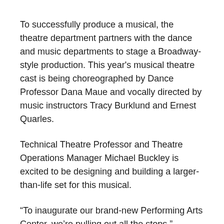To successfully produce a musical, the theatre department partners with the dance and music departments to stage a Broadway-style production. This year's musical theatre cast is being choreographed by Dance Professor Dana Maue and vocally directed by music instructors Tracy Burklund and Ernest Quarles.
Technical Theatre Professor and Theatre Operations Manager Michael Buckley is excited to be designing and building a larger-than-life set for this musical.
“To inaugurate our brand-new Performing Arts Center, we’re pulling out all the stops,” Buckley said. “We’ve never done a set with so many intricate components and our students are getting to work with state-of-the-art tools, lighting and sound equipment. This show ushers the Southwestern College